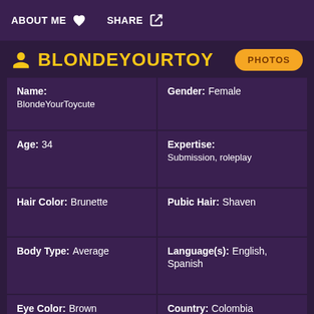ABOUT ME  SHARE
BLONDEYOURTOY  PHOTOS
| Field | Value |
| --- | --- |
| Name: | BlondeYourToycute |
| Gender: | Female |
| Age: | 34 |
| Expertise: | Submission, roleplay |
| Hair Color: | Brunette |
| Pubic Hair: | Shaven |
| Body Type: | Average |
| Language(s): | English, Spanish |
| Eye Color: | Brown |
| Country: | Colombia |
| Ethnicity: | Latina |
| Sexual Preference: |  |